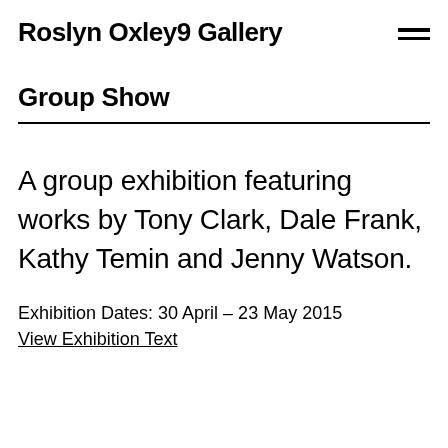Roslyn Oxley9 Gallery
Group Show
A group exhibition featuring works by Tony Clark, Dale Frank, Kathy Temin and Jenny Watson.
Exhibition Dates: 30 April – 23 May 2015
View Exhibition Text